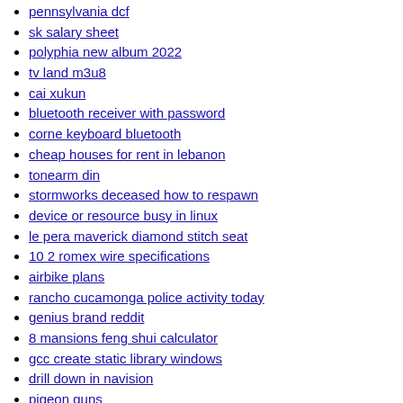pennsylvania dcf
sk salary sheet
polyphia new album 2022
tv land m3u8
cai xukun
bluetooth receiver with password
corne keyboard bluetooth
cheap houses for rent in lebanon
tonearm din
stormworks deceased how to respawn
device or resource busy in linux
le pera maverick diamond stitch seat
10 2 romex wire specifications
airbike plans
rancho cucamonga police activity today
genius brand reddit
8 mansions feng shui calculator
gcc create static library windows
drill down in navision
pigeon guns
vroom purchase blocked
gem pops mystery box
amazon fire tv box 2nd generation
bride price list in imo state
powerapps meeting screen